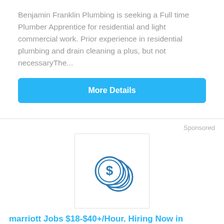Benjamin Franklin Plumbing is seeking a Full time Plumber Apprentice for residential and light commercial work. Prior experience in residential plumbing and drain cleaning a plus, but not necessaryThe...
More Details
Sponsored
[Figure (illustration): Coin stack icon with dollar sign, blue outline style on white background inside a bordered box]
marriott Jobs $18-$40+/Hour. Hiring Now in Indianapolis
marriott.MyJobHelper.com